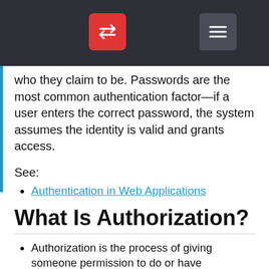[Navigation bar with back/swap button and menu button]
who they claim to be. Passwords are the most common authentication factor—if a user enters the correct password, the system assumes the identity is valid and grants access.
See:
Authentication in Web Applications
What Is Authorization?
Authorization is the process of giving someone permission to do or have something
Authorization is the function of specifying access rights/privileges to resources, which is related to